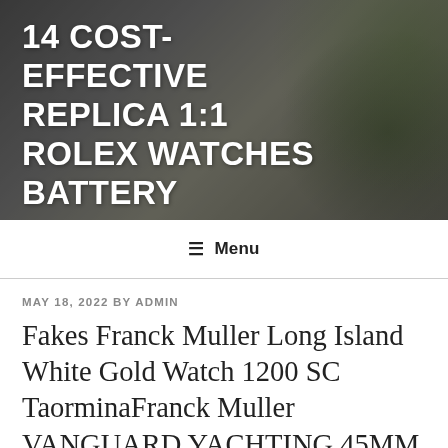14 COST-EFFECTIVE REPLICA 1:1 ROLEX WATCHES BATTERY
≡ Menu
MAY 18, 2022 BY ADMIN
Fakes Franck Muller Long Island White Gold Watch 1200 SC TaorminaFranck Muller VANGUARD YACHTING 45MM 45SCYACHTGLD 18K ROSE GOLD MEN'S WATCH Store